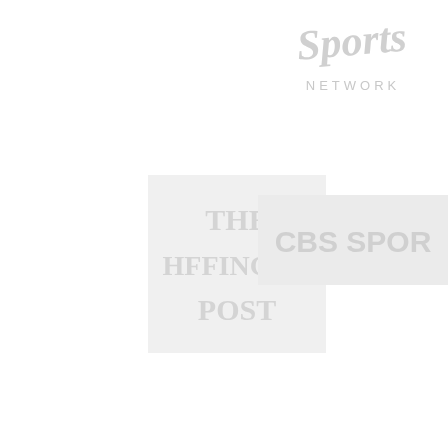[Figure (logo): Sports Network logo - faded cursive text, top right]
[Figure (logo): The Huffington Post logo - faded gray large text in box]
[Figure (logo): CBS Sports logo - faded gray text in box]
[Figure (logo): SJR The State Journal-Register logo with blue capitol dome icon]
[Figure (logo): medicinehealth - experts for everyday emergencies logo]
[Figure (logo): MedicineNet.com logo]
[Figure (logo): teacher resource logo (partial, gray)]
[Figure (logo): Daily News logo (partial)]
[Figure (logo): Blue rectangle box logo (partial, bottom left)]